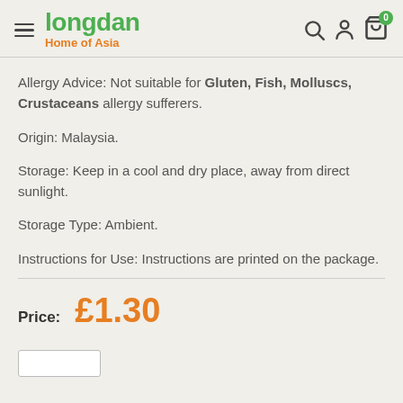Longdan Home of Asia
Allergy Advice: Not suitable for Gluten, Fish, Molluscs, Crustaceans allergy sufferers.
Origin: Malaysia.
Storage: Keep in a cool and dry place, away from direct sunlight.
Storage Type: Ambient.
Instructions for Use: Instructions are printed on the package.
Price: £1.30